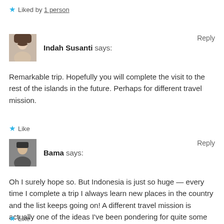★ Liked by 1 person
Indah Susanti says:   Reply
Remarkable trip. Hopefully you will complete the visit to the rest of the islands in the future. Perhaps for different travel mission.
★ Like
Bama says:   Reply
Oh I surely hope so. But Indonesia is just so huge — every time I complete a trip I always learn new places in the country and the list keeps going on! A different travel mission is actually one of the ideas I've been pondering for quite some time now.
★ Like